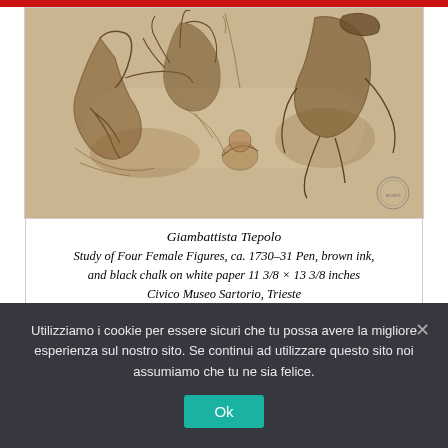[Figure (illustration): Sepia/brown ink drawing of figures in dynamic poses - Study of Four Female Figures by Giambattista Tiepolo. Shows multiple figures in flowing robes drawn with pen and brown ink with black chalk on white paper. A circular stamp/seal is visible in the lower right corner.]
Giambattista Tiepolo Study of Four Female Figures, ca. 1730–31 Pen, brown ink, and black chalk on white paper 11 3/8 × 13 3/8 inches Civico Museo Sartorio, Trieste
Utilizziamo i cookie per essere sicuri che tu possa avere la migliore esperienza sul nostro sito. Se continui ad utilizzare questo sito noi assumiamo che tu ne sia felice.